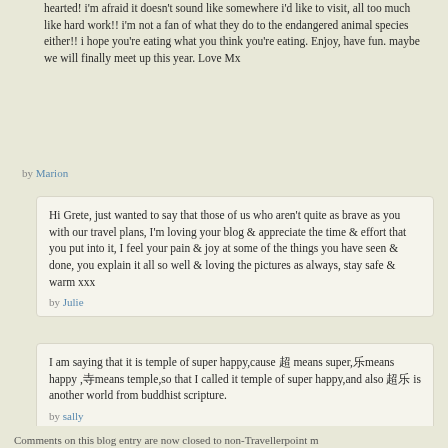hearted! i'm afraid it doesn't sound like somewhere i'd like to visit, all too much like hard work!! i'm not a fan of what they do to the endangered animal species either!! i hope you're eating what you think you're eating. Enjoy, have fun. maybe we will finally meet up this year. Love Mx
by Marion
Hi Grete, just wanted to say that those of us who aren't quite as brave as you with our travel plans, I'm loving your blog & appreciate the time & effort that you put into it, I feel your pain & joy at some of the things you have seen & done, you explain it all so well & loving the pictures as always, stay safe & warm xxx
by Julie
I am saying that it is temple of super happy,cause 超 means super,乐means happy ,寺means temple,so that I called it temple of super happy,and also 超乐 is another world from buddhist scripture.
by sally
Comments on this blog entry are now closed to non-Travellerpoint m